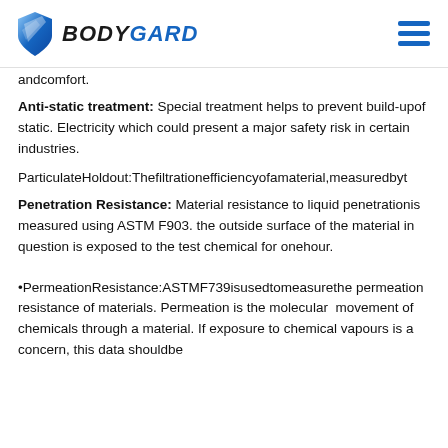[Figure (logo): Bodygard logo with shield icon and brand name in bold italic]
andcomfort.
Anti-static treatment: Special treatment helps to prevent build-upof static. Electricity which could present a major safety risk in certain industries.
ParticulateHoldout:Thefiltrationefficiencyofamaterial,measuredbyt
Penetration Resistance: Material resistance to liquid penetrationis measured using ASTM F903. the outside surface of the material in question is exposed to the test chemical for onehour.
•PermeationResistance:ASTMF739isusedtomeasurethe permeation resistance of materials. Permeation is the molecular movement of chemicals through a material. If exposure to chemical vapours is a concern, this data shouldbe